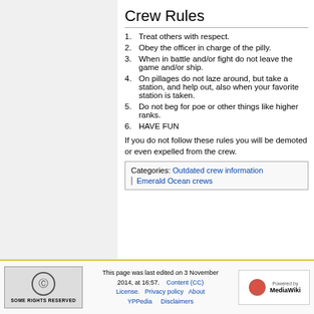Crew Rules
Treat others with respect.
Obey the officer in charge of the pilly.
When in battle and/or fight do not leave the game and/or ship.
On pillages do not laze around, but take a station, and help out, also when your favorite station is taken.
Do not beg for poe or other things like higher ranks.
HAVE FUN
If you do not follow these rules you will be demoted or even expelled from the crew.
Categories: Outdated crew information | Emerald Ocean crews
This page was last edited on 3 November 2014, at 16:57. Content (CC) License. Privacy policy About YPPedia Disclaimers